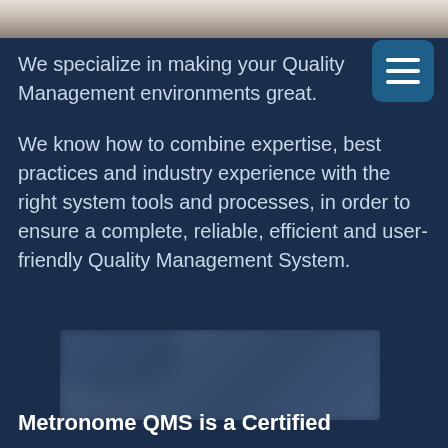[Figure (photo): Top strip showing the top edge of a page, appears to be a cropped photo]
We specialize in making your Quality Management environments great.
We know how to combine expertise, best practices and industry experience with the right system tools and processes, in order to ensure a complete, reliable, efficient and user-friendly Quality Management System.
[Figure (logo): Blurred logo image of Metronome QMS]
Metronome QMS is a Certified